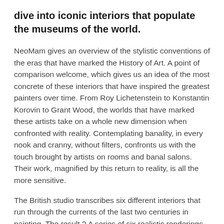dive into iconic interiors that populate the museums of the world.
NeoMam gives an overview of the stylistic conventions of the eras that have marked the History of Art. A point of comparison welcome, which gives us an idea of the most concrete of these interiors that have inspired the greatest painters over time. From Roy Lichetenstein to Konstantin Korovin to Grant Wood, the worlds that have marked these artists take on a whole new dimension when confronted with reality. Contemplating banality, in every nook and cranny, without filters, confronts us with the touch brought by artists on rooms and banal salons. Their work, magnified by this return to reality, is all the more sensitive.
The British studio transcribes six different interiors that run through the currents of the last two centuries in painting. The result ? A series of six realistic renderings, designed in character-generated (CG) that plunges the viewer into the